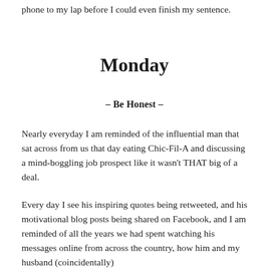phone to my lap before I could even finish my sentence.
Monday
– Be Honest –
Nearly everyday I am reminded of the influential man that sat across from us that day eating Chic-Fil-A and discussing a mind-boggling job prospect like it wasn't THAT big of a deal.
Every day I see his inspiring quotes being retweeted, and his motivational blog posts being shared on Facebook, and I am reminded of all the years we had spent watching his messages online from across the country, how him and my husband (coincidentally)